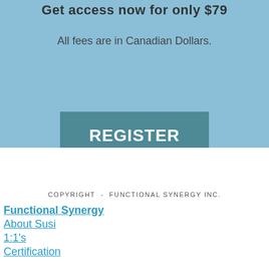Get access now for only $79
All fees are in Canadian Dollars.
REGISTER HERE
COPYRIGHT - FUNCTIONAL SYNERGY INC.
Functional Synergy
About Susi
1:1's
Certification